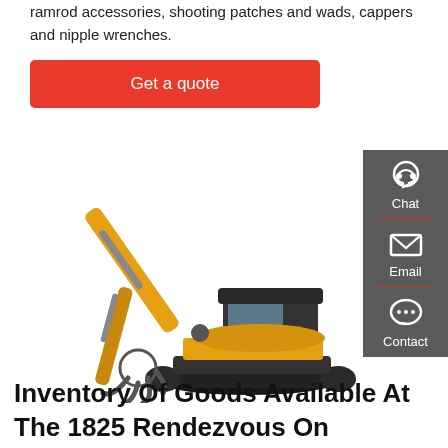ramrod accessories, shooting patches and wads, cappers and nipple wrenches.
Get a quote
[Figure (photo): Yellow excavator with grapple attachment on a white background]
[Figure (infographic): Sidebar with Chat, Email, and Contact icons on a dark grey background]
Inventory Of Goods Available At The 1825 Rendezvous On